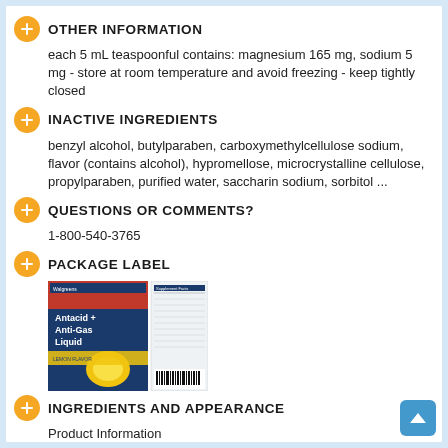OTHER INFORMATION
each 5 mL teaspoonful contains: magnesium 165 mg, sodium 5 mg - store at room temperature and avoid freezing - keep tightly closed
INACTIVE INGREDIENTS
benzyl alcohol, butylparaben, carboxymethylcellulose sodium, flavor (contains alcohol), hypromellose, microcrystalline cellulose, propylparaben, purified water, saccharin sodium, sorbitol ...
QUESTIONS OR COMMENTS?
1-800-540-3765
PACKAGE LABEL
[Figure (photo): Package label for Walgreens Antacid + Anti-Gas Liquid product showing front and back of bottle label]
INGREDIENTS AND APPEARANCE
Product Information